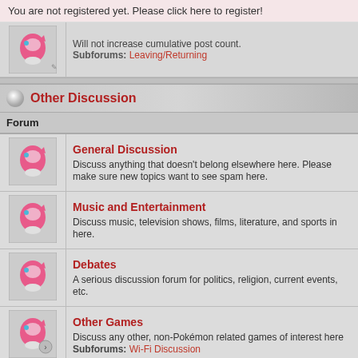You are not registered yet. Please click here to register!
Will not increase cumulative post count.
Subforums: Leaving/Returning
Other Discussion
| Forum |
| --- |
| General Discussion | Discuss anything that doesn't belong elsewhere here. Please make sure new topics want to see spam here. |
| Music and Entertainment | Discuss music, television shows, films, literature, and sports in here. |
| Debates | A serious discussion forum for politics, religion, current events, etc. |
| Other Games | Discuss any other, non-Pokémon related games of interest here
Subforums: Wi-Fi Discussion |
| Forum Games | Here you can make your own forum game or join in one.
Will not increase cumulative post count. |
Pokémon Forums